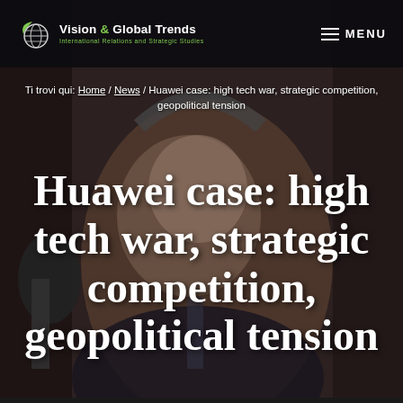[Figure (photo): Dark background photo of a man speaking into a microphone with headphones, partially visible, used as full-page background]
Vision & Global Trends | MENU
Ti trovi qui: Home / News / Huawei case: high tech war, strategic competition, geopolitical tension
Huawei case: high tech war, strategic competition, geopolitical tension